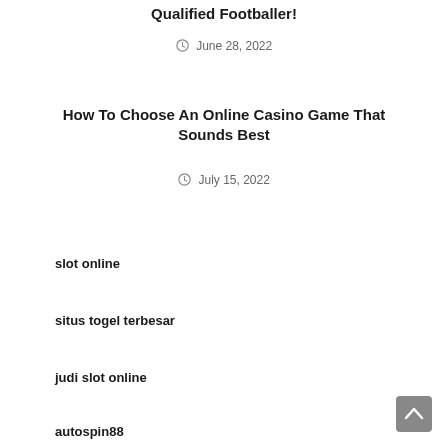Qualified Footballer!
June 28, 2022
How To Choose An Online Casino Game That Sounds Best
July 15, 2022
slot online
situs togel terbesar
judi slot online
autospin88